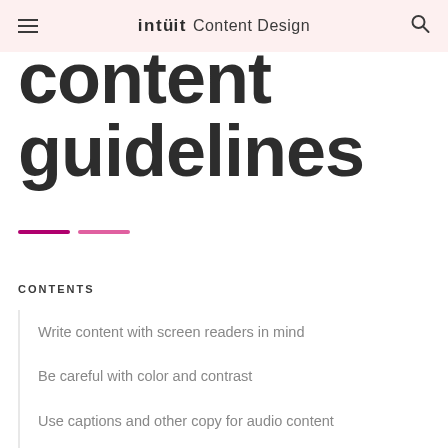intuit Content Design
content guidelines
CONTENTS
Write content with screen readers in mind
Be careful with color and contrast
Use captions and other copy for audio content